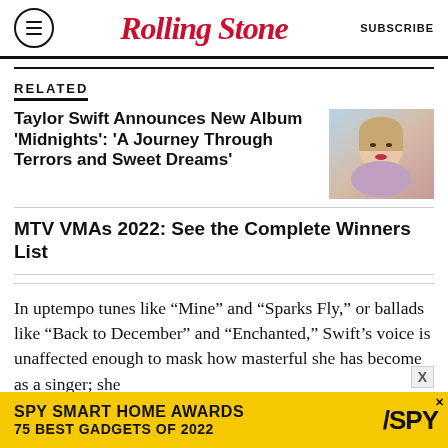Rolling Stone | SUBSCRIBE
RELATED
Taylor Swift Announces New Album 'Midnights': 'A Journey Through Terrors and Sweet Dreams'
[Figure (photo): Photo of Taylor Swift at an event]
MTV VMAs 2022: See the Complete Winners List
In uptempo tunes like “Mine” and “Sparks Fly,” or ballads like “Back to December” and “Enchanted,” Swift’s voice is unaffected enough to mask how masterful she has become as a singer; she
[Figure (infographic): SPY Smart Home Awards advertisement: SPY SMART HOME AWARDS 75 BEST GADGETS OF 2022]